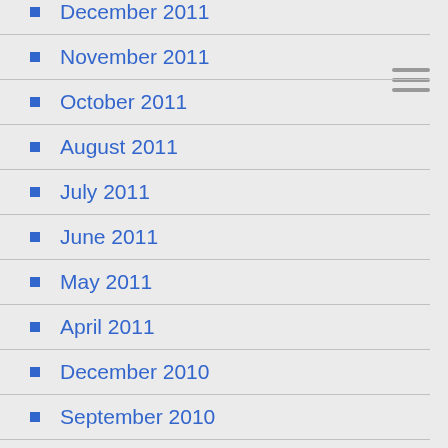December 2011
November 2011
October 2011
August 2011
July 2011
June 2011
May 2011
April 2011
December 2010
September 2010
July 2010
June 2010
May 2010